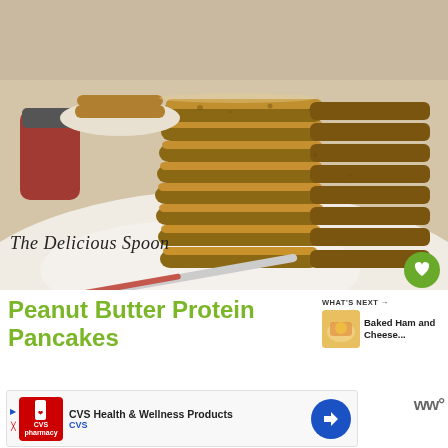[Figure (photo): Stack of peanut butter protein pancakes on a white plate with jam knife and jam jar in background, photographed from close up. Branded with 'The Delicious Spoon' watermark.]
Peanut Butter Protein Pancakes
WHAT'S NEXT → Baked Ham and Cheese...
[Figure (photo): Small thumbnail of Baked Ham and Cheese recipe next to WHAT'S NEXT label]
CVS Health & Wellness Products CVS